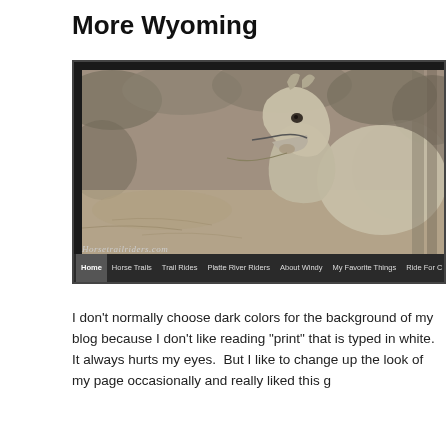More Wyoming
[Figure (screenshot): Screenshot of the Horsetrailriders.com website showing a black-and-white photograph of a horse's head and neck in profile with a shrubby background. The website navigation bar at the bottom shows: Home, Horse Trails, Trail Rides, Platte River Riders, About Windy, My Favorite Things, Ride For...]
I don't normally choose dark colors for the background of my blog because I don't like reading "print" that is typed in white.  It always hurts my eyes.  But I like to change up the look of my page occasionally and really liked this g...